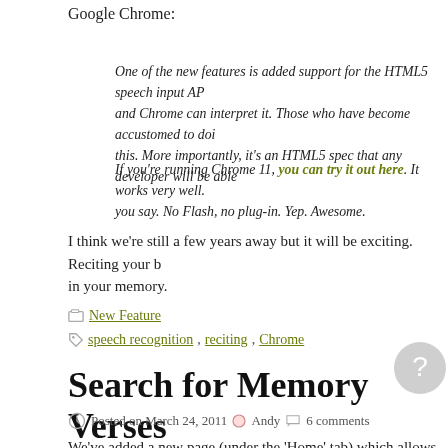Google Chrome:
One of the new features is added support for the HTML5 speech input API and Chrome can interpret it. Those who have become accustomed to doing this. More importantly, it's an HTML5 spec that any developer will be able
If you're running Chrome 11, you can try it out here. It works very well. you say. No Flash, no plug-in. Yep. Awesome.
I think we're still a few years away but it will be exciting. Reciting your b in your memory.
New Feature
speech recognition, reciting, Chrome
Search for Memory Verses
Posted on March 24, 2011  Andy  6 comments
We've added a new page (under the 'Home' tab) which allows you to s verses that have already been entered in Memverse by another user probably because it hasn't yet been entered. If you would like to restr your bible translation. For instance, search for "In the beginning NIV"